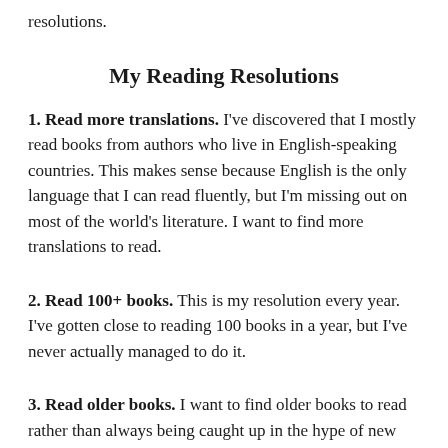resolutions.
My Reading Resolutions
1. Read more translations. I've discovered that I mostly read books from authors who live in English-speaking countries. This makes sense because English is the only language that I can read fluently, but I'm missing out on most of the world's literature. I want to find more translations to read.
2. Read 100+ books. This is my resolution every year. I've gotten close to reading 100 books in a year, but I've never actually managed to do it.
3. Read older books. I want to find older books to read rather than always being caught up in the hype of new releases.
4. Discover more books...